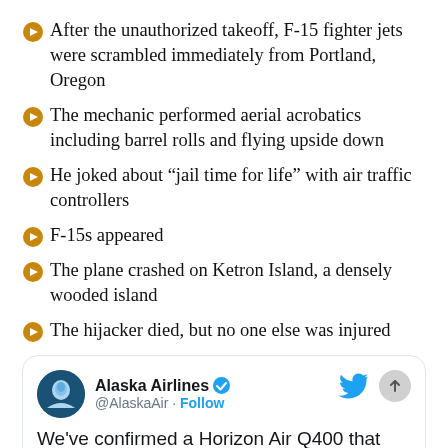After the unauthorized takeoff, F-15 fighter jets were scrambled immediately from Portland, Oregon
The mechanic performed aerial acrobatics including barrel rolls and flying upside down
He joked about “jail time for life” with air traffic controllers
F-15s appeared
The plane crashed on Ketron Island, a densely wooded island
The hijacker died, but no one else was injured
[Figure (screenshot): Alaska Airlines Twitter card showing tweet: We've confirmed a Horizon Air Q400 that had an unauthorized takeoff from SeaTac around 8pm has gone down near Ketron (text partially faded with X close button)]